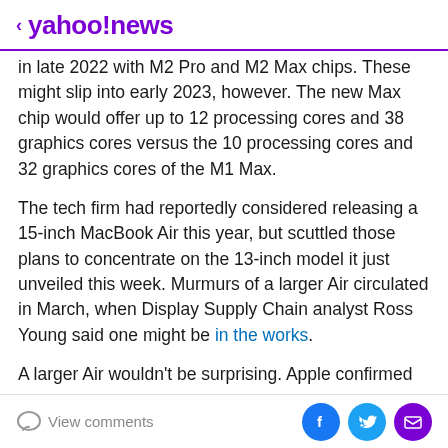< yahoo!news
in late 2022 with M2 Pro and M2 Max chips. These might slip into early 2023, however. The new Max chip would offer up to 12 processing cores and 38 graphics cores versus the 10 processing cores and 32 graphics cores of the M1 Max.
The tech firm had reportedly considered releasing a 15-inch MacBook Air this year, but scuttled those plans to concentrate on the 13-inch model it just unveiled this week. Murmurs of a larger Air circulated in March, when Display Supply Chain analyst Ross Young said one might be in the works.
A larger Air wouldn't be surprising. Apple confirmed at WWDC 2023...
View comments